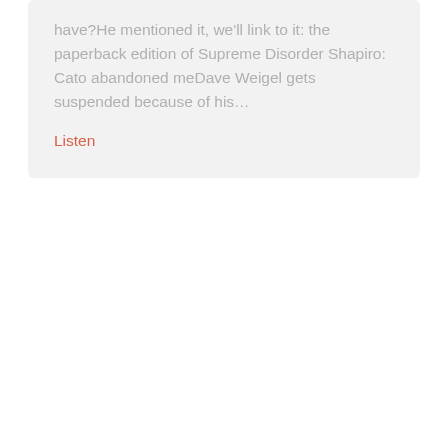have?He mentioned it, we'll link to it: the paperback edition of Supreme Disorder Shapiro: Cato abandoned meDave Weigel gets suspended because of his…
Listen